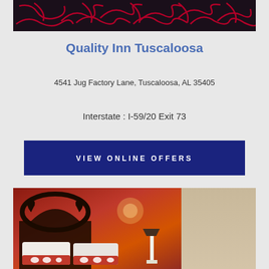[Figure (photo): Top portion of a hotel carpet with dark background and red swirling pattern]
Quality Inn Tuscaloosa
4541 Jug Factory Lane, Tuscaloosa, AL 35405
Interstate : I-59/20 Exit 73
VIEW ONLINE OFFERS
[Figure (photo): Hotel room interior with orange/red walls, ornate black headboard, white lamp, and decorative pillows with elephant pattern in red and white]